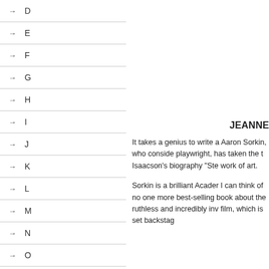→ D
→ E
→ F
→ G
→ H
→ I
→ J
→ K
→ L
→ M
→ N
→ O
→ R
→ S
→ SAFETY
→ SALINGER
JEANNE
It takes a genius to write a Aaron Sorkin, who conside playwright, has taken the t Isaacson's biography "Ste work of art.
Sorkin is a brilliant Acader I can think of no one more best-selling book about the ruthless and incredibly inv film, which is set backstag